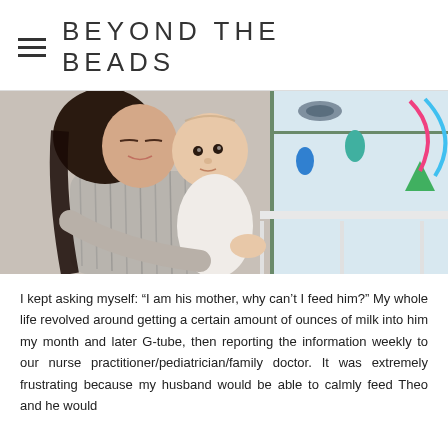BEYOND THE BEADS
[Figure (photo): A woman holding a baby in a hospital room with colorful toys/mobile visible in the background. The woman is smiling and nuzzling the baby, who is looking at the camera.]
I kept asking myself: “I am his mother, why can’t I feed him?” My whole life revolved around getting a certain amount of ounces of milk into him my month and later G-tube, then reporting the information weekly to our nurse practitioner/pediatrician/family doctor. It was extremely frustrating because my husband would be able to calmly feed Theo and he would